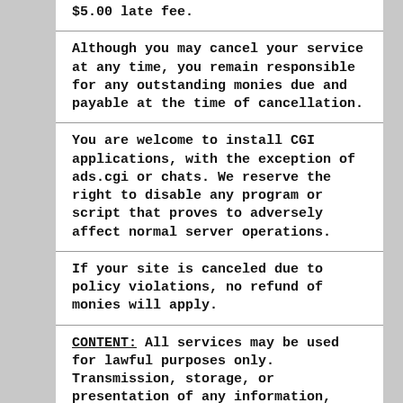$5.00 late fee.
Although you may cancel your service at any time, you remain responsible for any outstanding monies due and payable at the time of cancellation.
You are welcome to install CGI applications, with the exception of ads.cgi or chats. We reserve the right to disable any program or script that proves to adversely affect normal server operations.
If your site is canceled due to policy violations, no refund of monies will apply.
CONTENT: All services may be used for lawful purposes only. Transmission, storage, or presentation of any information, data or material in violation of any United States Federal, State or City law is prohibited. This